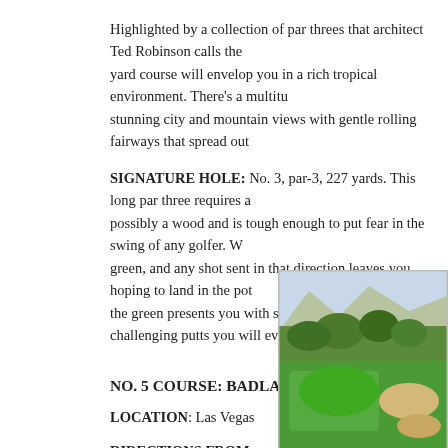Highlighted by a collection of par threes that architect Ted Robinson calls the yard course will envelop you in a rich tropical environment. There's a multitu stunning city and mountain views with gentle rolling fairways that spread out
SIGNATURE HOLE: No. 3, par-3, 227 yards. This long par three requires a possibly a wood and is tough enough to put fear in the swing of any golfer. W green, and any shot sent in that direction leaves you hoping to land in the pot the green presents you with some of the most challenging putts you will ever
NO. 5 COURSE: BADLANDS
LOCATION: Las Vegas
DIRECTIONS FROM MCCARRAN AIRPORT: Take I-15 north to US-95 north to Summerlin Pkwy. Exit on Rampart and go left to Alta Dr. Take a right on Alta Dr. The course will be on your left at the first traffic light.
PHONE: 702 363-0754
[Figure (photo): Aerial or landscape photo of a golf course showing green fairway, bunkers, and desert/mountain scenery in the background]